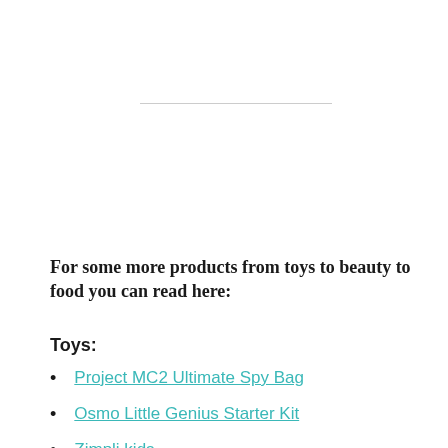For some more products from toys to beauty to food you can read here:
Toys:
Project MC2 Ultimate Spy Bag
Osmo Little Genius Starter Kit
Zimpli kids